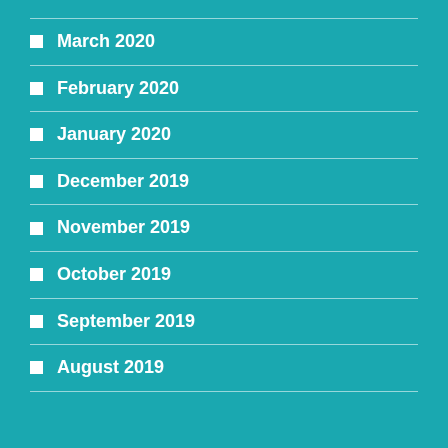March 2020
February 2020
January 2020
December 2019
November 2019
October 2019
September 2019
August 2019